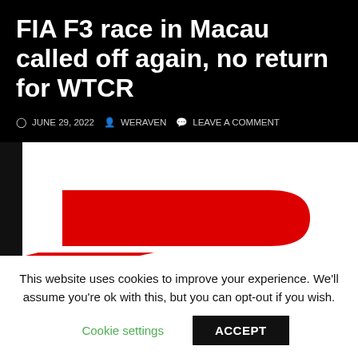FIA F3 race in Macau called off again, no return for WTCR
JUNE 29, 2022  WERAVEN  LEAVE A COMMENT
[Figure (logo): FIA F3 logo — red stylized F3 letters on white background, partially visible]
This website uses cookies to improve your experience. We'll assume you're ok with this, but you can opt-out if you wish.
Cookie settings  ACCEPT